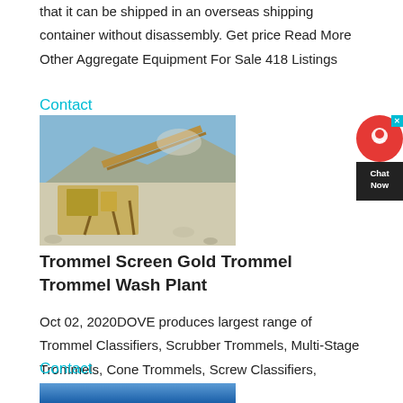that it can be shipped in an overseas shipping container without disassembly. Get price Read More Other Aggregate Equipment For Sale 418 Listings
Contact
[Figure (photo): Industrial aggregate crushing and screening plant with conveyor belts, yellow machinery, and a quarry backdrop under blue sky.]
Trommel Screen Gold Trommel Trommel Wash Plant
Oct 02, 2020DOVE produces largest range of Trommel Classifiers, Scrubber Trommels, Multi-Stage Trommels, Cone Trommels, Screw Classifiers, Scrubber Drums, 5
Contact
[Figure (photo): Partial view of blue-toned industrial equipment image, cropped at bottom of page.]